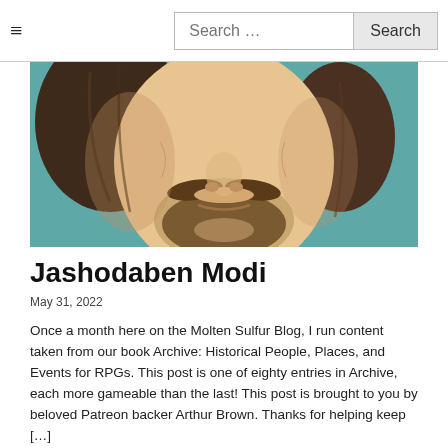≡  Search …  Search
[Figure (illustration): Illustrated portrait cropped to show lower face and neck of a person with a beard and mustache, dark hair, against a teal/blue-green background. Artistic/caricature style.]
Jashodaben Modi
May 31, 2022
Once a month here on the Molten Sulfur Blog, I run content taken from our book Archive: Historical People, Places, and Events for RPGs. This post is one of eighty entries in Archive, each more gameable than the last! This post is brought to you by beloved Patreon backer Arthur Brown. Thanks for helping keep […]
ARCHIVE BOOK  HINDUISM  HISTORY  INDIA  LOVE  MODERN  NPC  POLITICS  SOUTH AND SOUTHEAST ASIA